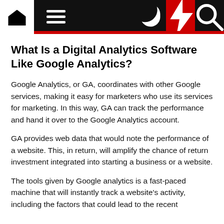Navigation bar with home, menu, moon, flash, and search icons
What Is a Digital Analytics Software Like Google Analytics?
Google Analytics, or GA, coordinates with other Google services, making it easy for marketers who use its services for marketing. In this way, GA can track the performance and hand it over to the Google Analytics account.
GA provides web data that would note the performance of a website. This, in return, will amplify the chance of return investment integrated into starting a business or a website.
The tools given by Google analytics is a fast-paced machine that will instantly track a website's activity, including the factors that could lead to the recent